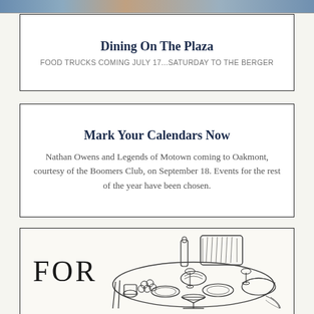[Figure (photo): Partial top image strip showing people or food trucks, cropped at the top of the page]
Dining On The Plaza
FOOD TRUCKS COMING JULY 17...SATURDAY TO THE BERGER
Mark Your Calendars Now
Nathan Owens and Legends of Motown coming to Oakmont, courtesy of the Boomers Club, on September 18. Events for the rest of the year have been chosen.
FOR
[Figure (illustration): Line drawing illustration of a dining table set with food, dishes, glasses, a wine bottle, and a chair visible in the background]